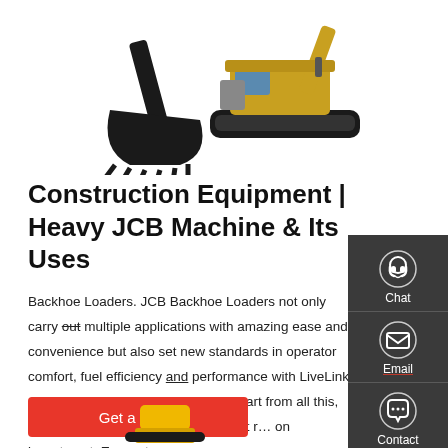[Figure (photo): Two construction equipment images: a JCB excavator bucket/attachment on the left and a JCB excavator/crawler machine on the right, shown against white background at top of page]
Construction Equipment | Heavy JCB Machine & Its Uses
Backhoe Loaders. JCB Backhoe Loaders not only carry out multiple applications with amazing ease and convenience but also set new standards in operator comfort, fuel efficiency and performance with LiveLink - Advanced Telematics Technology. Apart from all this, the entire range also assures highest returns on investment. Excavators
Get a quote
[Figure (photo): Partial view of a yellow construction equipment (excavator/JCB) visible at bottom of page]
[Figure (infographic): Sidebar panel with dark grey background showing three contact options: Chat (headset icon), Email (envelope icon), Contact (speech bubble with dots icon)]